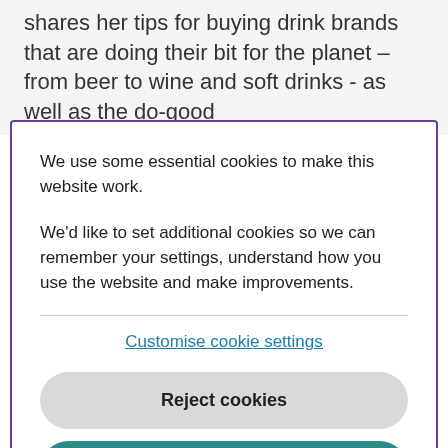shares her tips for buying drink brands that are doing their bit for the planet  – from beer to wine and soft drinks - as well as the do-good
We use some essential cookies to make this website work.
We'd like to set additional cookies so we can remember your settings, understand how you use the website and make improvements.
Customise cookie settings
Reject cookies
Accept cookies